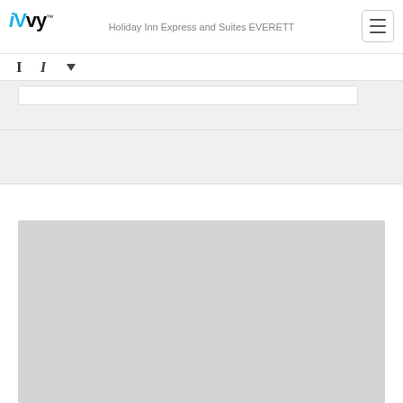iVvy — Holiday Inn Express and Suites EVERETT
[Figure (screenshot): Toolbar with sort/filter icons]
[Figure (screenshot): Filter/search bar area with white input box on gray background]
[Figure (photo): Large gray placeholder image area]